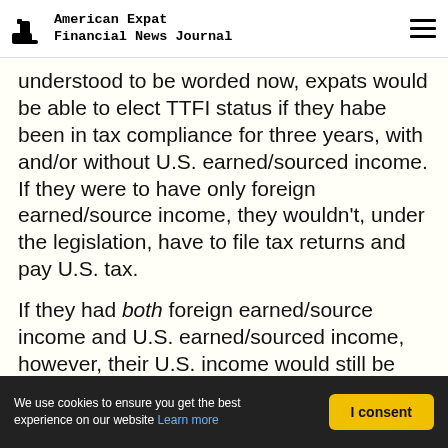American Expat Financial News Journal
understood to be worded now, expats would be able to elect TTFI status if they habe been in tax compliance for three years, with and/or without U.S. earned/sourced income. If they were to have only foreign earned/source income, they wouldn't, under the legislation, have to file tax returns and pay U.S. tax.
If they had both foreign earned/source income and U.S. earned/sourced income, however, their U.S. income would still be taxable, and they would have to file U.S.
We use cookies to ensure you get the best experience on our website Learn more | I consent